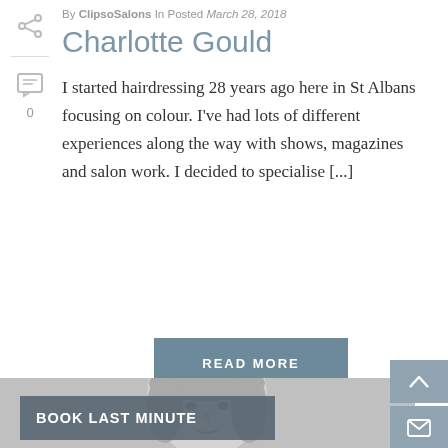By ClipsoSalons In Posted March 28, 2018
Charlotte Gould
I started hairdressing 28 years ago here in St Albans focusing on colour. I've had lots of different experiences along the way with shows, magazines and salon work. I decided to specialise [...]
READ MORE
[Figure (photo): Black and white portrait photo of a young woman with wavy hair, looking slightly upward]
BOOK LAST MINUTE